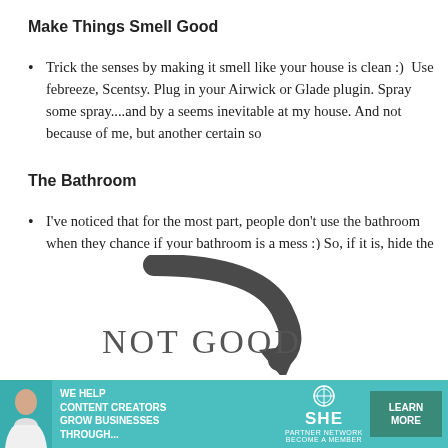Make Things Smell Good
Trick the senses by making it smell like your house is clean :)  Use febreeze, Scentsy. Plug in your Airwick or Glade plugin. Spray some spray....and by a seems inevitable at my house. And not because of me, but another certain so
The Bathroom
I've noticed that for the most part, people don't use the bathroom when they chance if your bathroom is a mess :) So, if it is, hide the mess in the cabinet lid and clean under there. Wipe down the sink, faucet and mirror. Pick up ob
Be sure to straighten the bathroom towel also and flip it over -that side is al
[Figure (infographic): A large downward-curving arrow with 'NOT GOOD' text in decorative serif font, indicating something negative]
[Figure (infographic): Advertisement banner for SHE Partner Network: 'We help content creators grow businesses through...' with Learn More button]